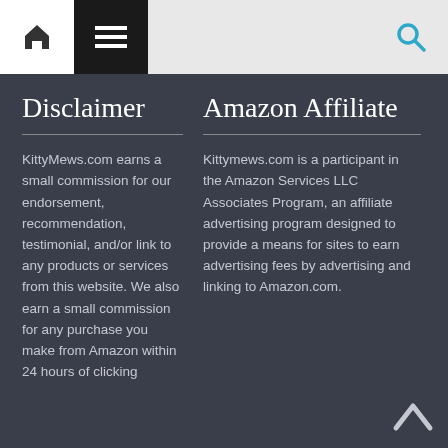Navigation bar with home icon, menu icon, search bar, and search icon
Disclaimer
KittyMews.com earns a small commission for our endorsement, recommendation, testimonial, and/or link to any products or services from this website. We also earn a small commission for any purchase you make from Amazon within 24 hours of clicking
Amazon Affiliate
Kittymews.com is a participant in the Amazon Services LLC Associates Program, an affiliate advertising program designed to provide a means for sites to earn advertising fees by advertising and linking to Amazon.com.